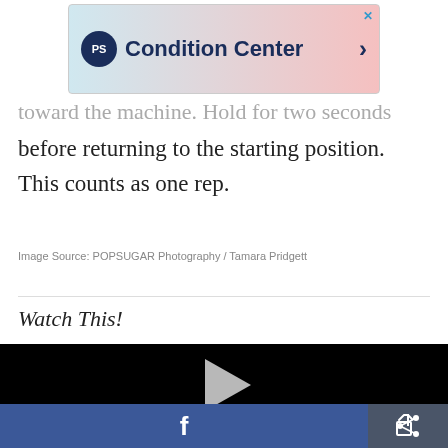[Figure (screenshot): POPSUGAR Condition Center advertisement banner with logo and chevron arrow]
toward the machine. Hold for two seconds before returning to the starting position. This counts as one rep.
Image Source: POPSUGAR Photography / Tamara Pridgett
Watch This!
[Figure (screenshot): Black video player with gray play button triangle in the center]
[Figure (screenshot): Bottom bar with Facebook share button and share icon button]